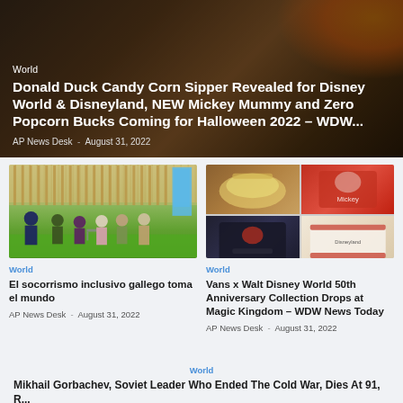[Figure (photo): Hero background with dark orange and brown tones, Halloween themed with candy corn and pumpkin colors]
World
Donald Duck Candy Corn Sipper Revealed for Disney World & Disneyland, NEW Mickey Mummy and Zero Popcorn Bucks Coming for Halloween 2022 – WDW...
AP News Desk  -  August 31, 2022
[Figure (photo): Group of people including a person with a walker standing in a gymnasium with wooden wall bars]
World
El socorrismo inclusivo gallego toma el mundo
AP News Desk  -  August 31, 2022
[Figure (photo): Four-panel grid of Disney merchandise: patterned hat, red Mickey sweatshirt, black hoodie, white ringer t-shirt]
World
Vans x Walt Disney World 50th Anniversary Collection Drops at Magic Kingdom – WDW News Today
AP News Desk  -  August 31, 2022
World
Mikhail Gorbachev, Soviet Leader Who Ended The Cold War, Dies At 91, R...